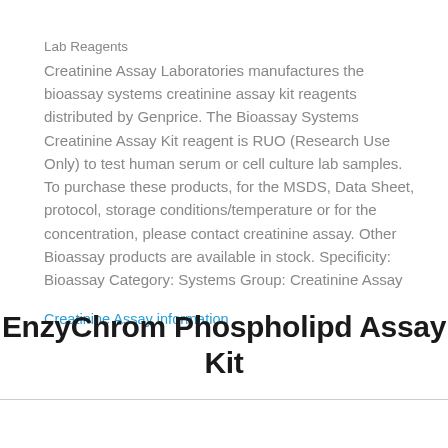Lab Reagents
Creatinine Assay Laboratories manufactures the bioassay systems creatinine assay kit reagents distributed by Genprice. The Bioassay Systems Creatinine Assay Kit reagent is RUO (Research Use Only) to test human serum or cell culture lab samples. To purchase these products, for the MSDS, Data Sheet, protocol, storage conditions/temperature or for the concentration, please contact creatinine assay. Other Bioassay products are available in stock. Specificity: Bioassay Category: Systems Group: Creatinine Assay
Creatinine Assay information
EnzyChrom Phospholipd Assay Kit